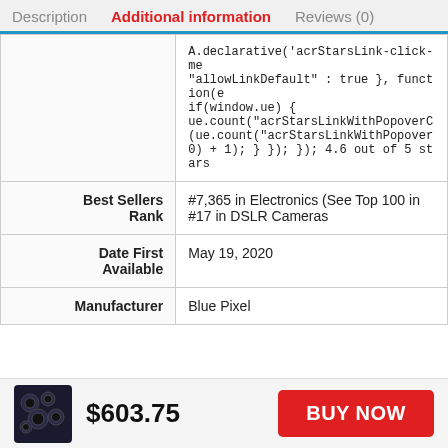Description  Additional information  Reviews (0)
| Field | Value |
| --- | --- |
|  | A.declarative('acrStarsLink-click-me... "allowLinkDefault" : true }, function(e if(window.ue) { ue.count("acrStarsLinkWithPopoverC (ue.count("acrStarsLinkWithPopover 0) + 1); } }); }); 4.6 out of 5 stars |
| Best Sellers Rank | #7,365 in Electronics (See Top 100 in... #17 in DSLR Cameras |
| Date First Available | May 19, 2020 |
| Manufacturer | Blue Pixel |
$603.75
BUY NOW